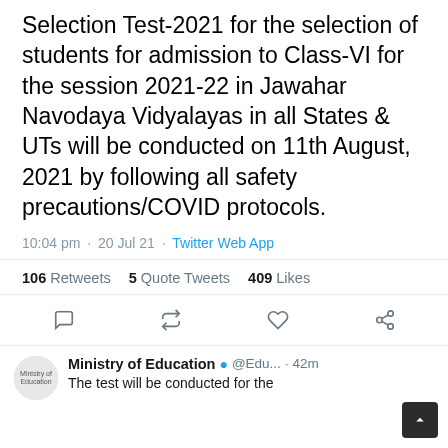Selection Test-2021 for the selection of students for admission to Class-VI for the session 2021-22 in Jawahar Navodaya Vidyalayas in all States & UTs will be conducted on 11th August, 2021 by following all safety precautions/COVID protocols.
10:04 pm · 20 Jul 21 · Twitter Web App
106 Retweets   5 Quote Tweets   409 Likes
[Figure (screenshot): Twitter action icons: reply, retweet, like, share]
Ministry of Education @Edu... · 42m
The test will be conducted for the